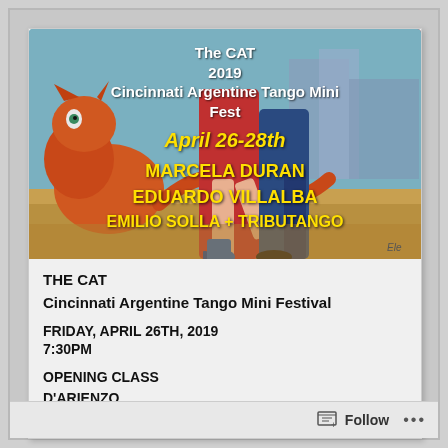[Figure (illustration): Event poster illustration featuring a painted cat and tango dancers' legs. Text overlaid: 'The CAT 2019 Cincinnati Argentine Tango Mini Fest', 'April 26-28th', 'MARCELA DURAN', 'EDUARDO VILLALBA', 'EMILIO SOLLA + TRIBUTANGO']
THE CAT
Cincinnati Argentine Tango Mini Festival
FRIDAY, APRIL 26TH, 2019
7:30PM
OPENING CLASS
D'ARIENZO
DANCING THE RHYTHM
Follow ...